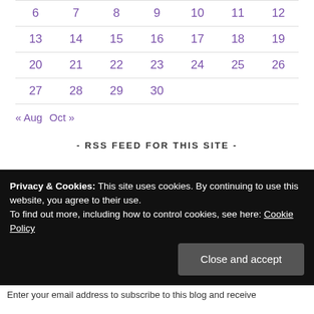| 6 | 7 | 8 | 9 | 10 | 11 | 12 |
| 13 | 14 | 15 | 16 | 17 | 18 | 19 |
| 20 | 21 | 22 | 23 | 24 | 25 | 26 |
| 27 | 28 | 29 | 30 |  |  |  |
« Aug   Oct »
- RSS FEED FOR THIS SITE -
Privacy & Cookies: This site uses cookies. By continuing to use this website, you agree to their use.
To find out more, including how to control cookies, see here: Cookie Policy
Close and accept
Enter your email address to subscribe to this blog and receive